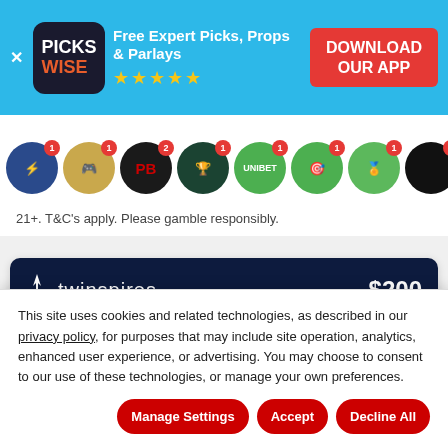[Figure (screenshot): Pickswise app advertisement banner with logo, 'Free Expert Picks, Props & Parlays' tagline, 5 stars, and 'DOWNLOAD OUR APP' red button on cyan background]
[Figure (screenshot): Row of sportsbook brand icon circles with notification badges]
21+. T&C's apply. Please gamble responsibly.
[Figure (screenshot): Twinspires sportsbook card with $200 sign-up bonus offer and CLAIM NOW button]
This site uses cookies and related technologies, as described in our privacy policy, for purposes that may include site operation, analytics, enhanced user experience, or advertising. You may choose to consent to our use of these technologies, or manage your own preferences.
Manage Settings
Accept
Decline All